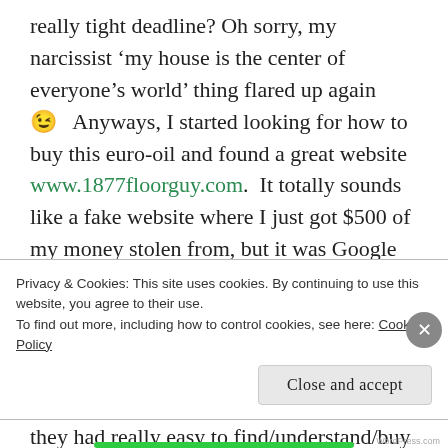really tight deadline? Oh sorry, my narcissist 'my house is the center of everyone's world' thing flared up again 😉   Anyways, I started looking for how to buy this euro-oil and found a great website www.1877floorguy.com.  It totally sounds like a fake website where I just got $500 of my money stolen from, but it was Google Verified and we just got the supplies so I can attest this site is legit and has great customer service.
I did end up going with WOCA because they had really easy to find/understand/buy items.  I bought
Privacy & Cookies: This site uses cookies. By continuing to use this website, you agree to their use.
To find out more, including how to control cookies, see here: Cookie Policy
Close and accept